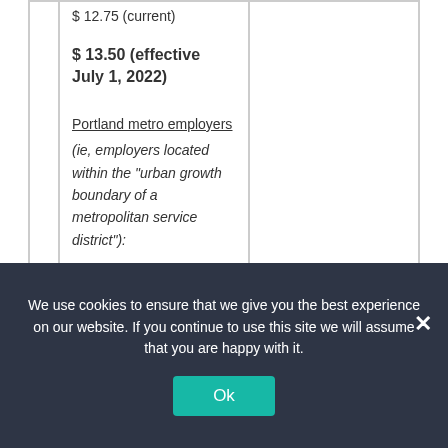| $ 12.75 (current) |  |
| $ 13.50 (effective July 1, 2022) |  |
| Portland metro employers (ie, employers located within the "urban growth boundary of a metropolitan service district"): | Tip credit not |
We use cookies to ensure that we give you the best experience on our website. If you continue to use this site we will assume that you are happy with it.